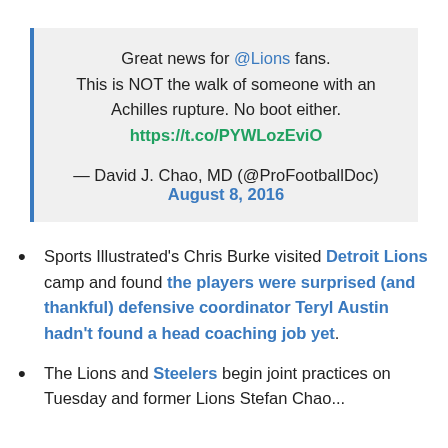Great news for @Lions fans. This is NOT the walk of someone with an Achilles rupture. No boot either. https://t.co/PYWLozEviO
— David J. Chao, MD (@ProFootballDoc) August 8, 2016
Sports Illustrated's Chris Burke visited Detroit Lions camp and found the players were surprised (and thankful) defensive coordinator Teryl Austin hadn't found a head coaching job yet.
The Lions and Steelers begin joint practices on Tuesday and former Lions Stefan Checkwe...